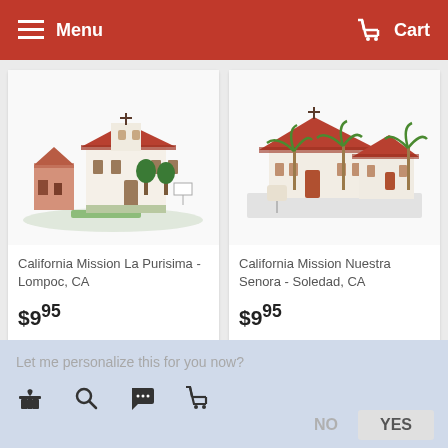Menu | Cart
[Figure (photo): Paper model of California Mission La Purisima - Lompoc, CA with pink and white buildings and red tile roofs]
California Mission La Purisima - Lompoc, CA
$9.95
[Figure (photo): Paper model of California Mission Nuestra Senora - Soledad, CA with white buildings, red tile roofs and palm trees]
California Mission Nuestra Senora - Soledad, CA
$9.95
Let me personalize this for you now?
NO | YES